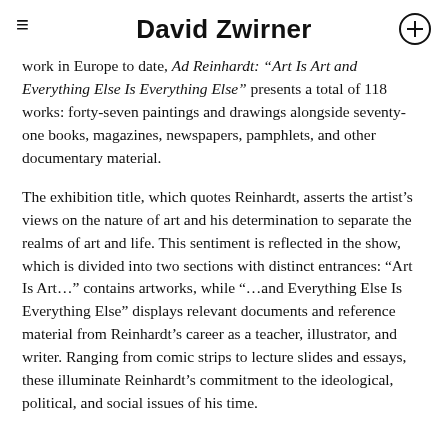David Zwirner
work in Europe to date, Ad Reinhardt: “Art Is Art and Everything Else Is Everything Else” presents a total of 118 works: forty-seven paintings and drawings alongside seventy-one books, magazines, newspapers, pamphlets, and other documentary material.
The exhibition title, which quotes Reinhardt, asserts the artist’s views on the nature of art and his determination to separate the realms of art and life. This sentiment is reflected in the show, which is divided into two sections with distinct entrances: “Art Is Art…” contains artworks, while “…and Everything Else Is Everything Else” displays relevant documents and reference material from Reinhardt’s career as a teacher, illustrator, and writer. Ranging from comic strips to lecture slides and essays, these illuminate Reinhardt’s commitment to the ideological, political, and social issues of his time.